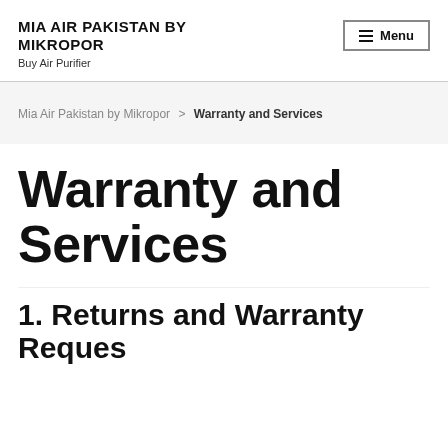MIA AIR PAKISTAN BY MIKROPOR
Buy Air Purifier
Mia Air Pakistan by Mikropor > Warranty and Services
Warranty and Services
1. Returns and Warranty Requests